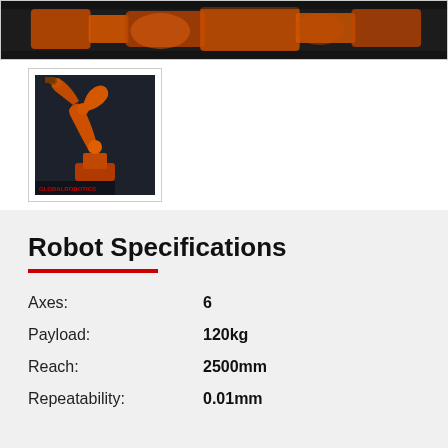[Figure (photo): Dark industrial scene with orange robot arm hardware at top of page]
[Figure (photo): Thumbnail image of an orange 6-axis industrial robot arm against dark background, with Global Robots logo watermark]
Robot Specifications
| Specification | Value |
| --- | --- |
| Axes: | 6 |
| Payload: | 120kg |
| Reach: | 2500mm |
| Repeatability: | 0.01mm |